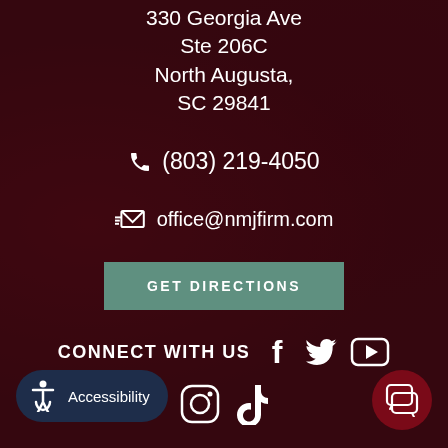330 Georgia Ave
Ste 206C
North Augusta,
SC 29841
(803) 219-4050
office@nmjfirm.com
GET DIRECTIONS
CONNECT WITH US
Accessibility